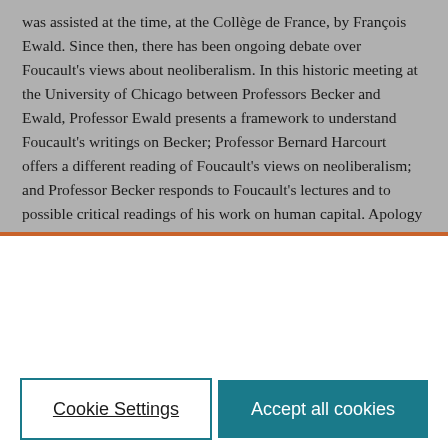was assisted at the time, at the Collège de France, by François Ewald. Since then, there has been ongoing debate over Foucault's views about neoliberalism. In this historic meeting at the University of Chicago between Professors Becker and Ewald, Professor Ewald presents a framework to understand Foucault's writings on Becker; Professor Bernard Harcourt offers a different reading of Foucault's views on neoliberalism; and Professor Becker responds to Foucault's lectures and to possible critical readings of his work on human capital. Apology or critique — that is the motivating question in this rich encounter between contemporary French philosophy and
We use cookies that are necessary to make our site work. We may also use additional cookies to analyze, improve, and personalize our content and your digital experience. For more information, see our Cookie Policy
Cookie Settings
Accept all cookies